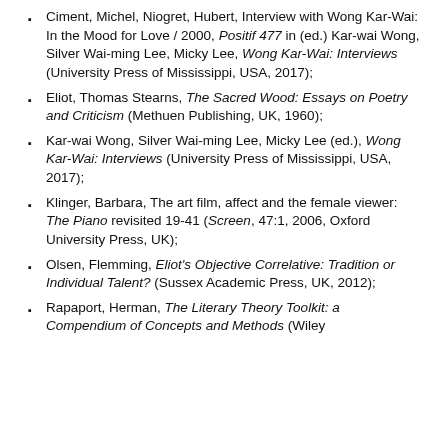Ciment, Michel, Niogret, Hubert, Interview with Wong Kar-Wai: In the Mood for Love / 2000, Positif 477 in (ed.) Kar-wai Wong, Silver Wai-ming Lee, Micky Lee, Wong Kar-Wai: Interviews (University Press of Mississippi, USA, 2017);
Eliot, Thomas Stearns, The Sacred Wood: Essays on Poetry and Criticism (Methuen Publishing, UK, 1960);
Kar-wai Wong, Silver Wai-ming Lee, Micky Lee (ed.), Wong Kar-Wai: Interviews (University Press of Mississippi, USA, 2017);
Klinger, Barbara, The art film, affect and the female viewer: The Piano revisited 19-41 (Screen, 47:1, 2006, Oxford University Press, UK);
Olsen, Flemming, Eliot's Objective Correlative: Tradition or Individual Talent? (Sussex Academic Press, UK, 2012);
Rapaport, Herman, The Literary Theory Toolkit: a Compendium of Concepts and Methods (Wiley...